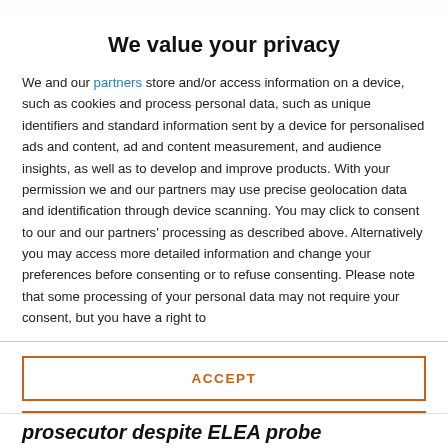We value your privacy
We and our partners store and/or access information on a device, such as cookies and process personal data, such as unique identifiers and standard information sent by a device for personalised ads and content, ad and content measurement, and audience insights, as well as to develop and improve products. With your permission we and our partners may use precise geolocation data and identification through device scanning. You may click to consent to our and our partners' processing as described above. Alternatively you may access more detailed information and change your preferences before consenting or to refuse consenting. Please note that some processing of your personal data may not require your consent, but you have a right to
ACCEPT
MORE OPTIONS
prosecutor despite ELEA probe